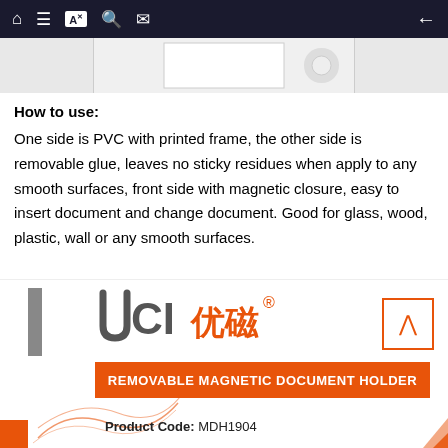Navigation bar with home, list, translate, search, mail icons and back arrow
[Figure (photo): Partial product photo of a removable magnetic document holder, white frame visible at top]
How to use:
One side is PVC with printed frame, the other side is removable glue, leaves no sticky residues when apply to any smooth surfaces, front side with magnetic closure, easy to insert document and change document. Good for glass, wood, plastic, wall or any smooth surfaces.
[Figure (logo): UCI 优磁® logo with orange and grey lettering, decorative swirl lines, orange banner reading REMOVABLE MAGNETIC DOCUMENT HOLDER, Product Code: MDH1904]